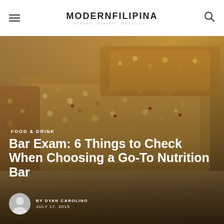MODERNFILIPINA — STRONG. HEALTHY. BEAUTIFUL.
[Figure (photo): Close-up photo of granola/nutrition bars made with oats, nuts, and dried fruit on a wooden surface]
FOOD & DRINK
Bar Exam: 6 Things to Check When Choosing a Go-To Nutrition Bar
BY DYAN CAROLINO
JULY 17, 2015